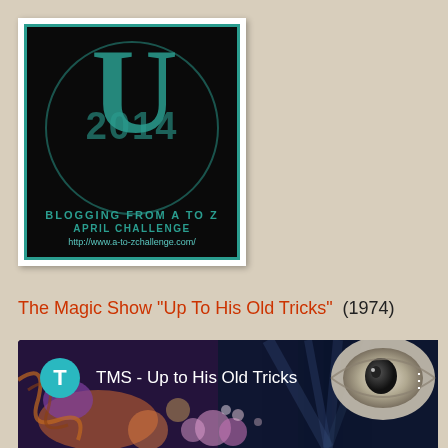[Figure (logo): A-to-Z Challenge 2014 badge with large U letter, teal color on black background with circular emblem, text BLOGGING FROM A TO Z APRIL CHALLENGE http://www.a-to-zchallenge.com/]
The Magic Show "Up To His Old Tricks" (1974)
[Figure (screenshot): Screenshot of a music/video app showing TMS - Up to His Old Tricks with a teal T avatar badge, dark fantasy artwork background with an eye and magical imagery]